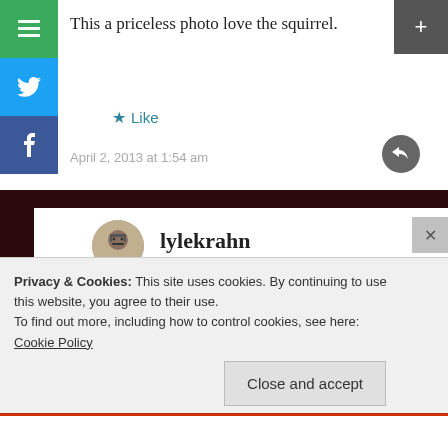This a priceless photo love the squirrel.
Like
April 2, 2013 at 1:54 am
lylekrahn
Thanks. It was fun taking it.
Privacy & Cookies: This site uses cookies. By continuing to use this website, you agree to their use.
To find out more, including how to control cookies, see here:
Cookie Policy
Close and accept